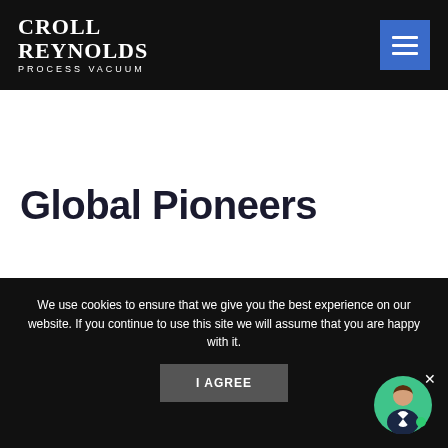Croll Reynolds Process Vacuum
Global Pioneers
We use cookies to ensure that we give you the best experience on our website. If you continue to use this site we will assume that you are happy with it.
I AGREE